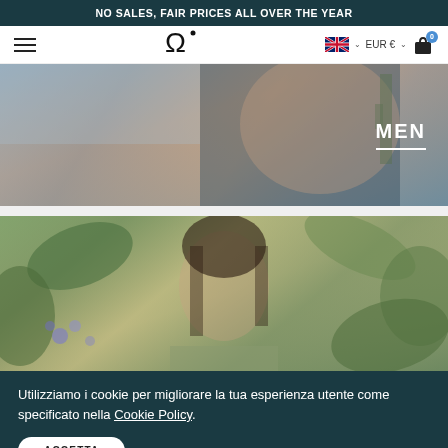NO SALES, FAIR PRICES ALL OVER THE YEAR
[Figure (screenshot): Navigation bar with hamburger menu, logo (omega symbol), UK flag, EUR currency selector, and shopping cart with badge 0]
[Figure (photo): Fashion photo showing person in navy knitwear with 'MEN' label overlay]
[Figure (photo): Fashion photo showing woman with dark hair in front of lush green tropical plants]
Utilizziamo i cookie per migliorare la tua esperienza utente come specificato nella Cookie Policy.
ACCETTA